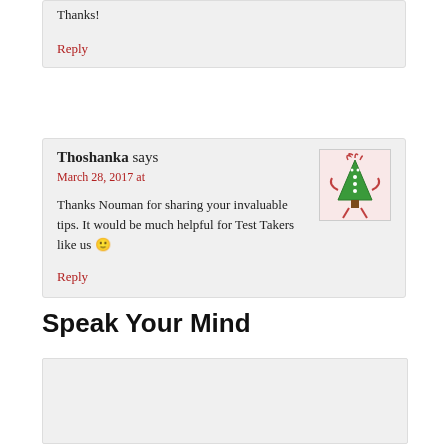Thanks!
Reply
Thoshanka says
March 28, 2017 at
[Figure (illustration): Avatar illustration of a green Christmas tree character with arms and legs, on a light pink background]
Thanks Nouman for sharing your invaluable tips. It would be much helpful for Test Takers like us 🙂
Reply
Speak Your Mind